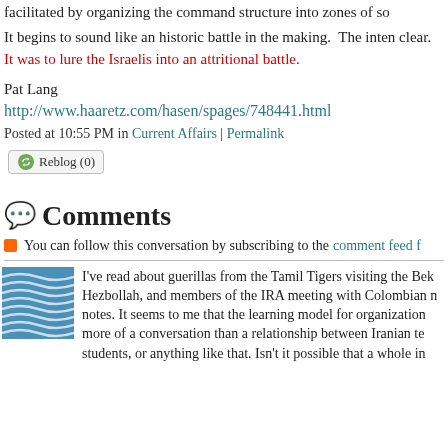facilitated by organizing the command structure into zones of so
It begins to sound like an historic battle in the making. The inten clear. It was to lure the Israelis into an attritional battle.
Pat Lang
http://www.haaretz.com/hasen/spages/748441.html
Posted at 10:55 PM in Current Affairs | Permalink
Reblog (0)
Comments
You can follow this conversation by subscribing to the comment feed f
I've read about guerillas from the Tamil Tigers visiting the Bek Hezbollah, and members of the IRA meeting with Colombian n notes. It seems to me that the learning model for organization more of a conversation than a relationship between Iranian te students, or anything like that. Isn't it possible that a whole in